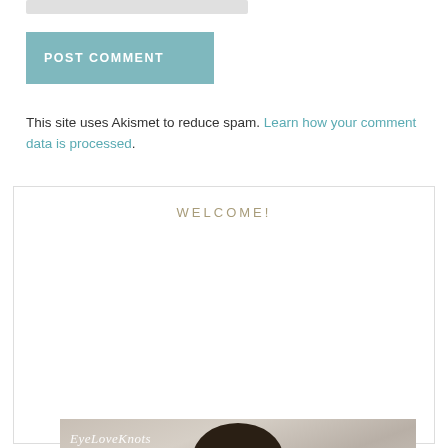[Figure (other): Gray input/text field bar at top of page]
POST COMMENT
This site uses Akismet to reduce spam. Learn how your comment data is processed.
WELCOME!
[Figure (photo): Photo of a woman with dark hair in a bun, lying against a light wood-plank background, with 'EyeLoveKnots' watermark text in the upper left corner of the photo.]